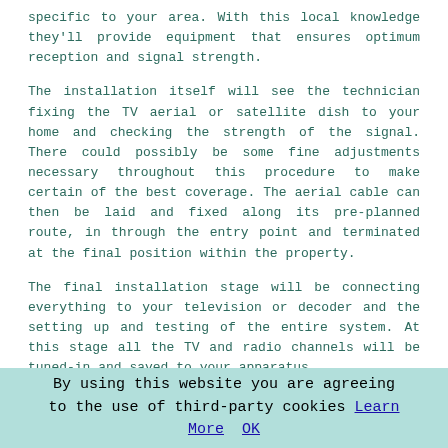specific to your area. With this local knowledge they'll provide equipment that ensures optimum reception and signal strength.
The installation itself will see the technician fixing the TV aerial or satellite dish to your home and checking the strength of the signal. There could possibly be some fine adjustments necessary throughout this procedure to make certain of the best coverage. The aerial cable can then be laid and fixed along its pre-planned route, in through the entry point and terminated at the final position within the property.
The final installation stage will be connecting everything to your television or decoder and the setting up and testing of the entire system. At this stage all the TV and radio channels will be tuned-in and saved to your apparatus.
Qualifications and Professional Trade Bodies
When picking out an aerial installation contractor in Fordingbridge there are a few industry focused trade organisations and bodies that provide accredited, who can
By using this website you are agreeing to the use of third-party cookies Learn More  OK